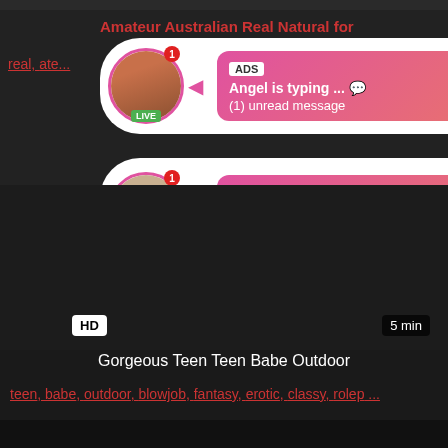Amateur Australian Real Natural for real, ... ate...
[Figure (screenshot): Ad popup bubble 1 with avatar, LIVE badge, ADS label, message: Angel is typing ... (1) unread message]
[Figure (screenshot): Ad popup bubble 2 with avatar, LIVE badge, ADS label, message: Jeniffer 2000 (00:12)]
[Figure (screenshot): Dark video thumbnail area with HD badge and 5 min duration label]
Gorgeous Teen Teen Babe Outdoor
teen, babe, outdoor, blowjob, fantasy, erotic, classy, rolep ...